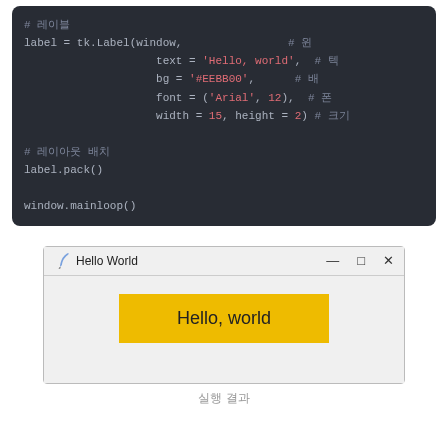[Figure (screenshot): Dark-themed code editor screenshot showing Python tkinter code: label = tk.Label(window, text='Hello, world', bg='#EEBB00', font=('Arial', 12), width=15, height=2) followed by label.pack() and window.mainloop()]
[Figure (screenshot): Screenshot of a Hello World tkinter window with a yellow label displaying 'Hello, world']
실행 결과 (Execution result)